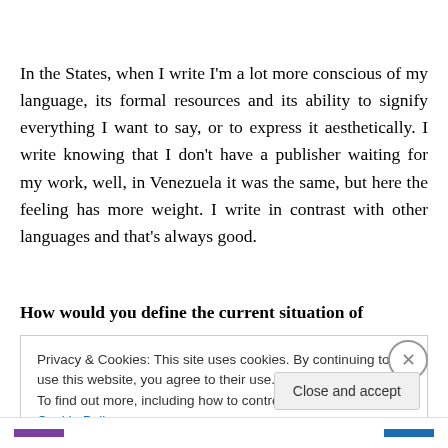In the States, when I write I'm a lot more conscious of my language, its formal resources and its ability to signify everything I want to say, or to express it aesthetically. I write knowing that I don't have a publisher waiting for my work, well, in Venezuela it was the same, but here the feeling has more weight. I write in contrast with other languages and that's always good.
How would you define the current situation of
Privacy & Cookies: This site uses cookies. By continuing to use this website, you agree to their use.
To find out more, including how to control cookies, see here: Cookie Policy